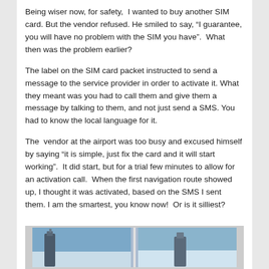Being wiser now, for safety,  I wanted to buy another SIM card. But the vendor refused. He smiled to say, “I guarantee, you will have no problem with the SIM you have”.  What then was the problem earlier?
The label on the SIM card packet instructed to send a message to the service provider in order to activate it. What they meant was you had to call them and give them a message by talking to them, and not just send a SMS. You had to know the local language for it.
The  vendor at the airport was too busy and excused himself by saying “it is simple, just fix the card and it will start working”.  It did start, but for a trial few minutes to allow for an activation call.  When the first navigation route showed up, I thought it was activated, based on the SMS I sent them. I am the smartest, you know now!  Or is it silliest?
[Figure (photo): Two side-by-side photos partially visible at the bottom of the page, appearing to show outdoor scenes with sky and structures.]